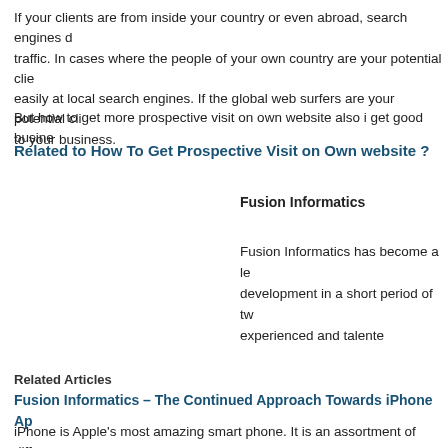If your clients are from inside your country or even abroad, search engines drive traffic. In cases where the people of your own country are your potential clients, rank easily at local search engines. If the global web surfers are your potential clients, to your business.
But how to get more prospective visit on own website also i get good business
Related to How To Get Prospective Visit on Own website ?
Fusion Informatics
Fusion Informatics has become a leading development in a short period of two experienced and talente
Related Articles
Fusion Informatics – The Continued Approach Towards iPhone App
iPhone is Apple's most amazing smart phone. It is an assortment of different